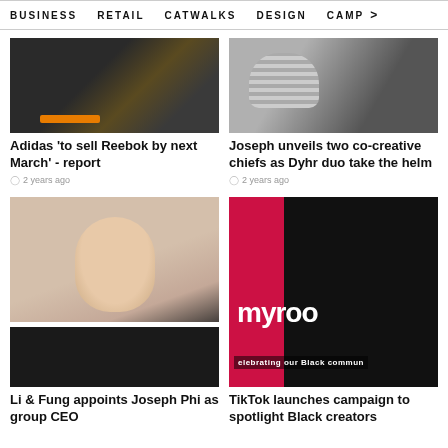BUSINESS   RETAIL   CATWALKS   DESIGN   CAMP >
[Figure (photo): Dark clothing/fashion image with orange stripe detail]
Adidas 'to sell Reebok by next March' - report
2 years ago
[Figure (photo): Black and white image of textured gloves/clothing]
Joseph unveils two co-creative chiefs as Dyhr duo take the helm
2 years ago
[Figure (photo): Portrait of Asian man with glasses wearing black sweater - Joseph Phi]
Li & Fung appoints Joseph Phi as group CEO
[Figure (photo): TikTok myroot campaign image celebrating Black community creators]
TikTok launches campaign to spotlight Black creators